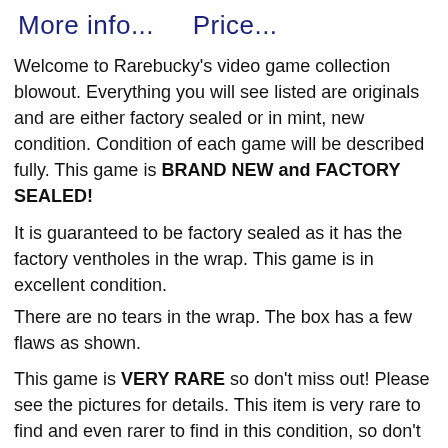More info...    Price...
Welcome to Rarebucky's video game collection blowout. Everything you will see listed are originals and are either factory sealed or in mint, new condition. Condition of each game will be described fully. This game is BRAND NEW and FACTORY SEALED!
It is guaranteed to be factory sealed as it has the factory ventholes in the wrap. This game is in excellent condition.
There are no tears in the wrap. The box has a few flaws as shown.
This game is VERY RARE so don't miss out! Please see the pictures for details. This item is very rare to find and even rarer to find in this condition, so don't miss out. This item comes from a pet-free, smoke-free home. Don't wait until the last hour to ask questions.
As I mentioned above, PLEASE send me a message if